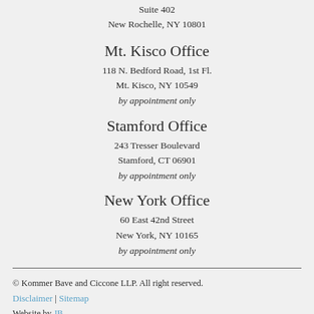Suite 402
New Rochelle, NY 10801
Mt. Kisco Office
118 N. Bedford Road, 1st Fl.
Mt. Kisco, NY 10549
by appointment only
Stamford Office
243 Tresser Boulevard
Stamford, CT 06901
by appointment only
New York Office
60 East 42nd Street
New York, NY 10165
by appointment only
© Kommer Bave and Ciccone LLP. All right reserved.
Disclaimer | Sitemap
Website by JB